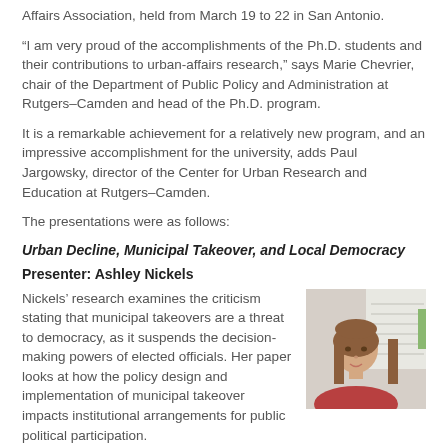Affairs Association, held from March 19 to 22 in San Antonio.
“I am very proud of the accomplishments of the Ph.D. students and their contributions to urban-affairs research,” says Marie Chevrier, chair of the Department of Public Policy and Administration at Rutgers–Camden and head of the Ph.D. program.
It is a remarkable achievement for a relatively new program, and an impressive accomplishment for the university, adds Paul Jargowsky, director of the Center for Urban Research and Education at Rutgers–Camden.
The presentations were as follows:
Urban Decline, Municipal Takeover, and Local Democracy
Presenter: Ashley Nickels
[Figure (photo): Photo of Ashley Nickels, a woman with long brown hair wearing a red top, standing in front of a whiteboard.]
Nickels’ research examines the criticism stating that municipal takeovers are a threat to democracy, as it suspends the decision-making powers of elected officials. Her paper looks at how the policy design and implementation of municipal takeover impacts institutional arrangements for public political participation.